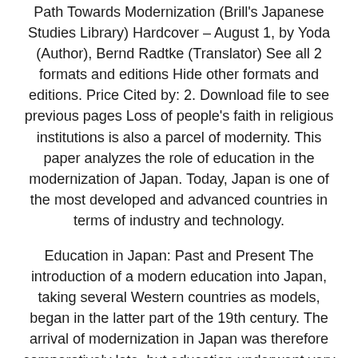Path Towards Modernization (Brill's Japanese Studies Library) Hardcover – August 1, by Yoda (Author), Bernd Radtke (Translator) See all 2 formats and editions Hide other formats and editions. Price Cited by: 2. Download file to see previous pages Loss of people's faith in religious institutions is also a parcel of modernity. This paper analyzes the role of education in the modernization of Japan. Today, Japan is one of the most developed and advanced countries in terms of industry and technology.
Education in Japan: Past and Present The introduction of a modern education into Japan, taking several Western countries as models, began in the latter part of the 19th century. The arrival of modernization in Japan was therefore comparatively late, but education underwent very rapid development within a short space of Size: KB. Japan underwent rapid modernization due to the impacts of